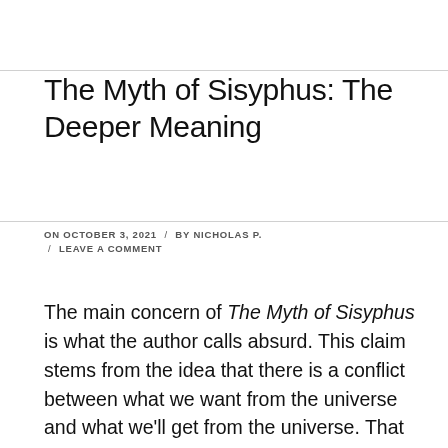The Myth of Sisyphus: The Deeper Meaning
ON OCTOBER 3, 2021 / BY NICHOLAS P. / LEAVE A COMMENT
The main concern of The Myth of Sisyphus is what the author calls absurd. This claim stems from the idea that there is a conflict between what we want from the universe and what we'll get from the universe. That we